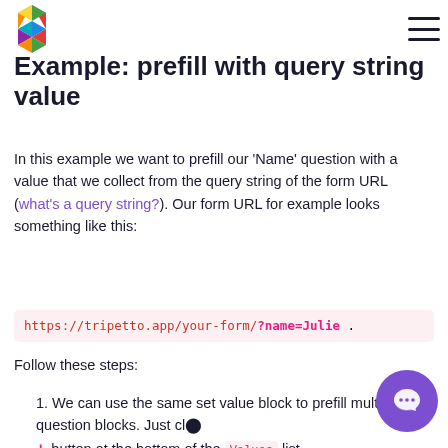[Figure (logo): Tripetto colorful geometric logo (top left)]
[Figure (other): Hamburger menu icon (top right)]
Example: prefill with query string value
In this example we want to prefill our 'Name' question with a value that we collect from the query string of the form URL (what's a query string?). Our form URL for example looks something like this:
https://tripetto.app/your-form/?name=Julie .
Follow these steps:
We can use the same set value block to prefill multiple question blocks. Just cl... button at the bottom of the Values list